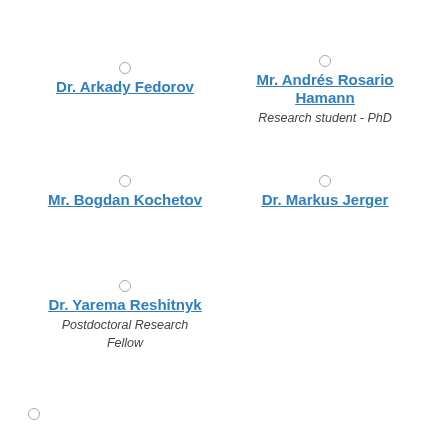Dr. Arkady Fedorov
Mr. Andrés Rosario Hamann
Research student - PhD
Mr. Bogdan Kochetov
Dr. Markus Jerger
Dr. Yarema Reshitnyk
Postdoctoral Research Fellow